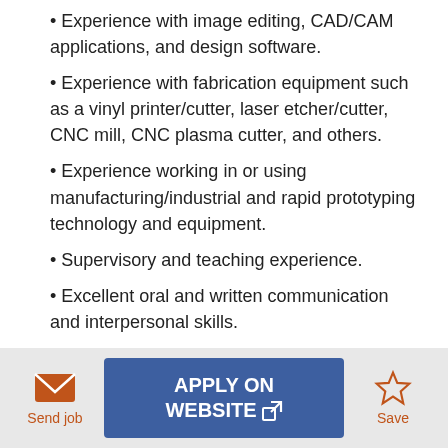• Experience with image editing, CAD/CAM applications, and design software.
• Experience with fabrication equipment such as a vinyl printer/cutter, laser etcher/cutter, CNC mill, CNC plasma cutter, and others.
• Experience working in or using manufacturing/industrial and rapid prototyping technology and equipment.
• Supervisory and teaching experience.
• Excellent oral and written communication and interpersonal skills.
Send job | APPLY ON WEBSITE | Save